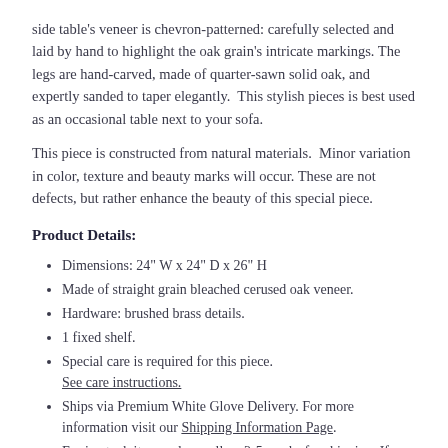side table's veneer is chevron-patterned: carefully selected and laid by hand to highlight the oak grain's intricate markings. The legs are hand-carved, made of quarter-sawn solid oak, and expertly sanded to taper elegantly.  This stylish pieces is best used as an occasional table next to your sofa.
This piece is constructed from natural materials.  Minor variation in color, texture and beauty marks will occur. These are not defects, but rather enhance the beauty of this special piece.
Product Details:
Dimensions: 24" W x 24" D x 26" H
Made of straight grain bleached cerused oak veneer.
Hardware: brushed brass details.
1 fixed shelf.
Special care is required for this piece. See care instructions.
Ships via Premium White Glove Delivery. For more information visit our Shipping Information Page.
For in-stock items, please allow 2-5 weeks for shipping. If